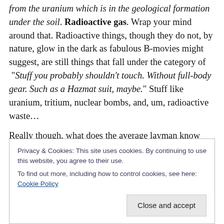from the uranium which is in the geological formation under the soil. Radioactive gas. Wrap your mind around that. Radioactive things, though they do not, by nature, glow in the dark as fabulous B-movies might suggest, are still things that fall under the category of “Stuff you probably shouldn’t touch. Without full-body gear. Such as a Hazmat suit, maybe.” Stuff like uranium, tritium, nuclear bombs, and, um, radioactive waste…

Really though, what does the average layman know from radioactive? The scientific explanation for radioactivity, itself, is so incomprehensible and ominous sounding
Privacy & Cookies: This site uses cookies. By continuing to use this website, you agree to their use.
To find out more, including how to control cookies, see here: Cookie Policy